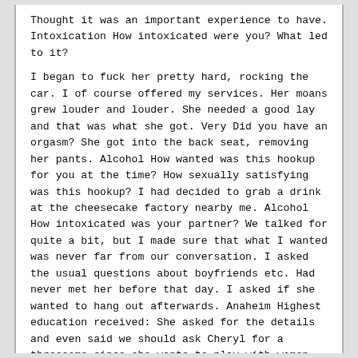Thought it was an important experience to have. Intoxication How intoxicated were you? What led to it?
I began to fuck her pretty hard, rocking the car. I of course offered my services. Her moans grew louder and louder. She needed a good lay and that was what she got. Very Did you have an orgasm? She got into the back seat, removing her pants. Alcohol How wanted was this hookup for you at the time? How sexually satisfying was this hookup? I had decided to grab a drink at the cheesecake factory nearby me. Alcohol How intoxicated was your partner? We talked for quite a bit, but I made sure that what I wanted was never far from our conversation. I asked the usual questions about boyfriends etc. Had never met her before that day. I asked if she wanted to hang out afterwards. Anaheim Highest education received: She asked for the details and even said we should ask Cheryl for a threesome since she wants to play with women. The parking lot was fairly empty and I was parked away from most of it. She said she had never done anything like that. She told